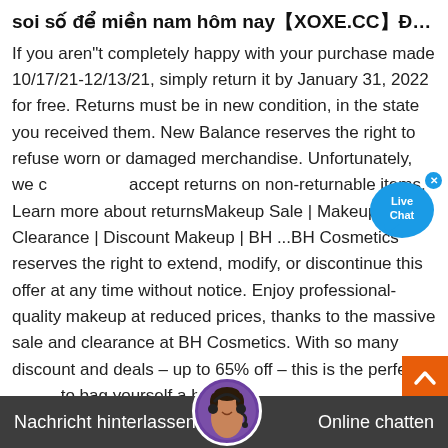soi số để miền nam hôm nay【XOXE.CC】Đăng ký tặ...
If you aren"t completely happy with your purchase made 10/17/21-12/13/21, simply return it by January 31, 2022 for free. Returns must be in new condition, in the state you received them. New Balance reserves the right to refuse worn or damaged merchandise. Unfortunately, we cannot accept returns on non-returnable items. Learn more about returnsMakeup Sale | Makeup Clearance | Discount Makeup | BH ...BH Cosmetics reserves the right to extend, modify, or discontinue this offer at any time without notice. Enjoy professional-quality makeup at reduced prices, thanks to the massive sale and clearance at BH Cosmetics. With so many discount and deals – up to 65% off – this is the perfect to bag yourself a bargain.
[Figure (other): Live Chat bubble icon with blue speech bubble and 'Live Chat' text]
[Figure (other): Orange scroll-to-top button with white chevron/arrow icon]
[Figure (other): Dark grey bottom chat bar with 'Nachricht hinterlassen' on left, customer service avatar in center, 'Online chatten' on right]